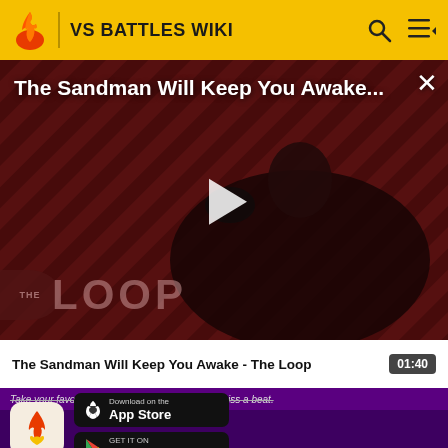VS BATTLES WIKI
[Figure (screenshot): Video thumbnail showing 'The Sandman Will Keep You Awake...' with a dark-cloaked figure holding a raven against a dark red diagonal stripe background, with a play button overlay and 'THE LOOP' watermark]
The Sandman Will Keep You Awake - The Loop 01:40
Take your favorite fandoms with you and never miss a beat.
[Figure (logo): Fandom app icon - flame with heart logo on light background]
[Figure (screenshot): Download on the App Store button]
[Figure (screenshot): GET IT ON Google Play button]